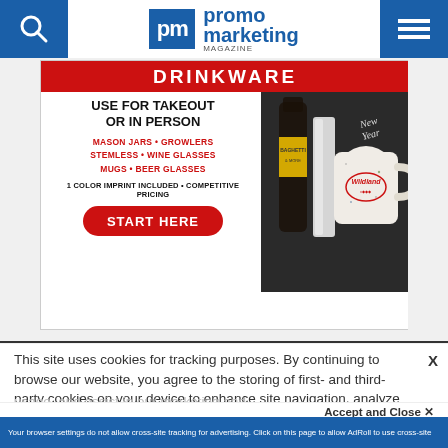[Figure (screenshot): Website header of Promo Marketing Magazine with search icon on left, pm logo in center, and hamburger menu on right, both side panels in blue]
[Figure (photo): Advertisement for drinkware products including mason jars, growlers, stemless wine glasses, mugs and beer glasses. Red button reads START HERE. 1 color imprint included, competitive pricing.]
This site uses cookies for tracking purposes. By continuing to browse our website, you agree to the storing of first- and third-party cookies on your device to enhance site navigation, analyze site usage, and assist in our marketing and
Accept and Close ✕
Your browser settings do not allow cross-site tracking for advertising. Click on this page to allow AdRoll to use cross-site tracking to tailor ads to you. Learn more or opt out of this AdRoll tracking by clicking here. This message only appears once.